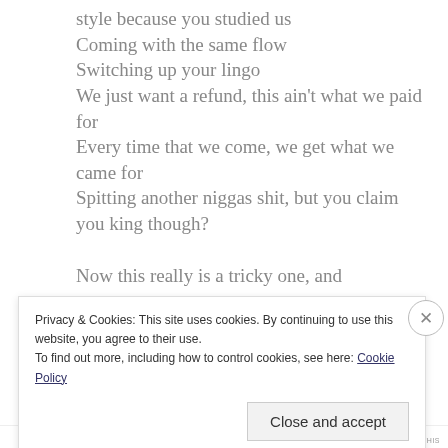style because you studied us
Coming with the same flow
Switching up your lingo
We just want a refund, this ain't what we paid for
Every time that we come, we get what we came for
Spitting another niggas shit, but you claim you king though?
Now this really is a tricky one, and
Privacy & Cookies: This site uses cookies. By continuing to use this website, you agree to their use.
To find out more, including how to control cookies, see here: Cookie Policy
Close and accept